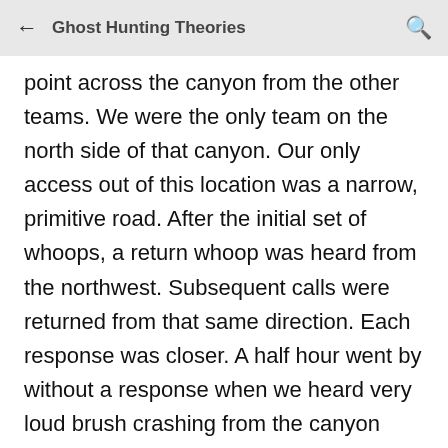Ghost Hunting Theories
point across the canyon from the other teams. We were the only team on the north side of that canyon. Our only access out of this location was a narrow, primitive road. After the initial set of whoops, a return whoop was heard from the northwest. Subsequent calls were returned from that same direction. Each response was closer. A half hour went by without a response when we heard very loud brush crashing from the canyon floor coming up. Within our field of vision, there were no visible heat signatures besides the